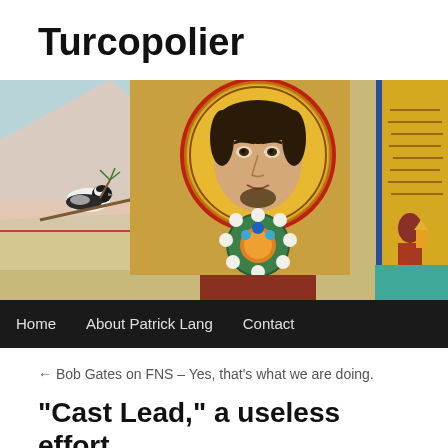Turcopolier
[Figure (illustration): Byzantine-style mosaic depicting a saint or emperor with golden halo, ornate jeweled collar, combined with a miniature painting of a bird on a branch (left side) and an Arabic manuscript illumination with a figure holding a lamp and a red fox (right side).]
Home   About Patrick Lang   Contact
← Bob Gates on FNS – Yes, that's what we are doing.
“Cast Lead,” a useless effort.